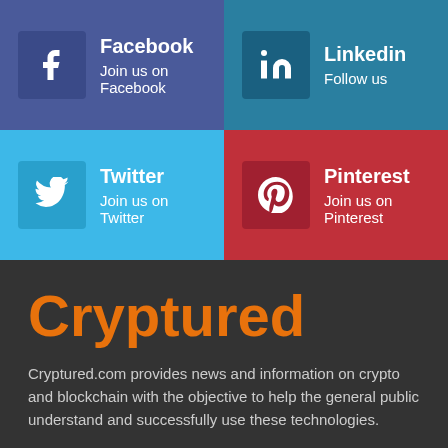[Figure (infographic): Social media links grid: Facebook (Join us on Facebook), LinkedIn (Follow us), Twitter (Join us on Twitter), Pinterest (Join us on Pinterest)]
Cryptured
Cryptured.com provides news and information on crypto and blockchain with the objective to help the general public understand and successfully use these technologies.
• Email: info@cryptured.com
This website uses cookies to improve your experience. We'll assume you're ok with this, but you can opt-out if you wish.
Accept   Read More